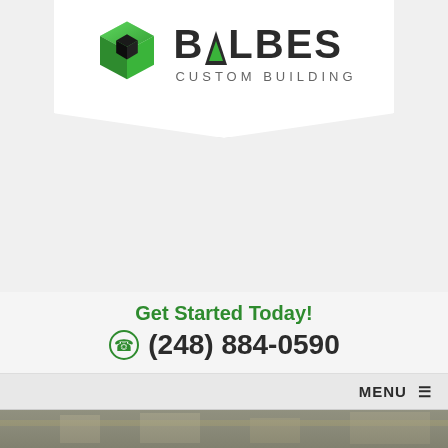[Figure (logo): Balbes Custom Building logo: green 3D cube icon with BALBES text in dark bold letters and CUSTOM BUILDING subtitle in gray]
Get Started Today!
(248) 884-0590
MENU
[Figure (photo): Partial hero image showing building exterior facade]
5 Kitchen Remodeling Trends